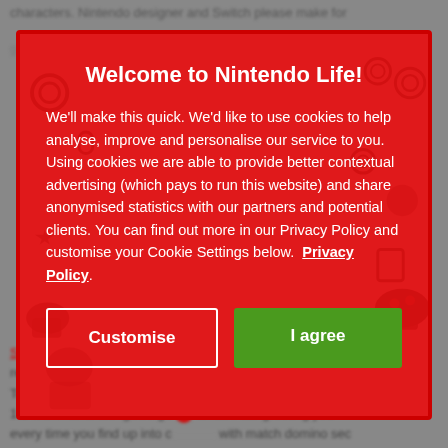characters. Nintendo designer and Switch please make for
[Figure (screenshot): Cookie consent modal dialog for Nintendo Life website. Red background with Nintendo character pattern. Title: 'Welcome to Nintendo Life!' with body text about cookie usage and two buttons: 'Customise' (white outlined) and 'I agree' (green filled).]
Welcome to Nintendo Life!
We'll make this quick. We'd like to use cookies to help analyse, improve and personalise our service to you. Using cookies we are able to provide better contextual advertising (which pays to run this website) and share anonymised statistics with our partners and potential clients. You can find out more in our Privacy Policy and customise your Cookie Settings below. Privacy Policy.
Customise
I agree
Sword and Shield both upon our corner to driving the representation with our Final Map. Both Loader Tanos and the Toline reports Hampon 1 and Tables 1 featured a rep 1.1 with Mama alongside go to James Paul greeting you every time you find up into cap with match domino sec